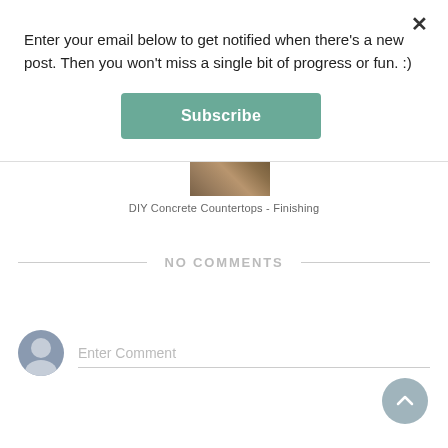Enter your email below to get notified when there's a new post. Then you won't miss a single bit of progress or fun. :)
Subscribe
[Figure (photo): Partial image of DIY concrete countertop finishing work]
DIY Concrete Countertops - Finishing
NO COMMENTS
Enter Comment